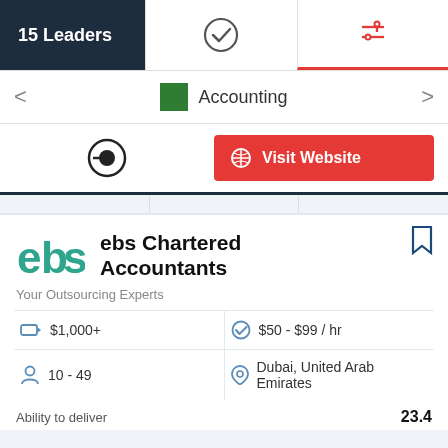15 Leaders
Accounting
Visit Website
ebs Chartered Accountants
Your Outsourcing Experts
| $1,000+ | $50 - $99 / hr |
| 10 - 49 | Dubai, United Arab Emirates |
Ability to deliver  23.4